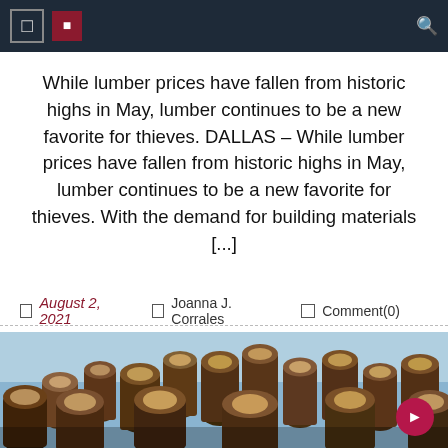Navigation bar with menu icons and search
While lumber prices have fallen from historic highs in May, lumber continues to be a new favorite for thieves. DALLAS – While lumber prices have fallen from historic highs in May, lumber continues to be a new favorite for thieves. With the demand for building materials [...]
August 2, 2021   Joanna J. Corrales   Comment(0)
[Figure (photo): Photograph of a large pile of cut logs stacked together, viewed from below against a sky background]